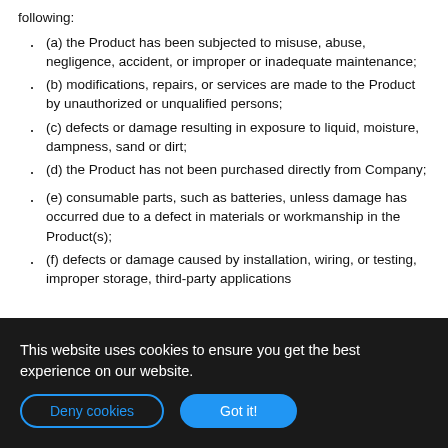following:
(a) the Product has been subjected to misuse, abuse, negligence, accident, or improper or inadequate maintenance;
(b) modifications, repairs, or services are made to the Product by unauthorized or unqualified persons;
(c) defects or damage resulting in exposure to liquid, moisture, dampness, sand or dirt;
(d) the Product has not been purchased directly from Company;
(e) consumable parts, such as batteries, unless damage has occurred due to a defect in materials or workmanship in the Product(s);
(f) defects or damage caused by installation, wiring, or testing, improper storage, third-party applications
This website uses cookies to ensure you get the best experience on our website.